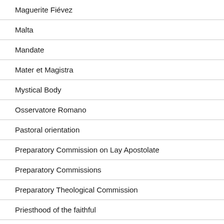Maguerite Fiévez
Malta
Mandate
Mater et Magistra
Mystical Body
Osservatore Romano
Pastoral orientation
Preparatory Commission on Lay Apostolate
Preparatory Commissions
Preparatory Theological Commission
Priesthood of the faithful